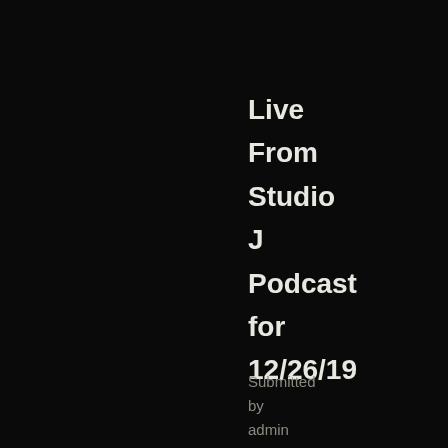Live From Studio J Podcast for 12/26/19
Submitted by admin